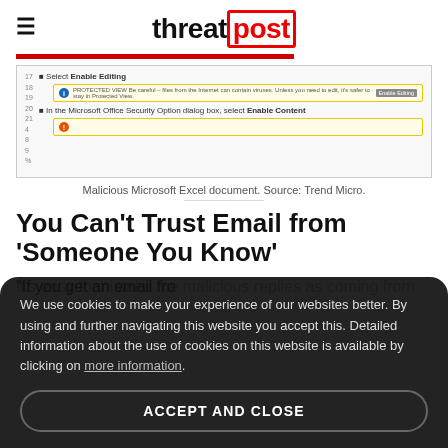threat post
[Figure (screenshot): Screenshot of a malicious Microsoft Excel document showing Protected View warning bar and Enable Editing prompt, with line numbers on the left side. Source: Trend Micro.]
Malicious Microsoft Excel document. Source: Trend Micro.
You Can’t Trust Email from ‘Someone You Know’
It’s easy to mistake the malicious replies as coming from
We use cookies to make your experience of our websites better. By using and further navigating this website you accept this. Detailed information about the use of cookies on this website is available by clicking on more information.
ACCEPT AND CLOSE
“If you get an email fro